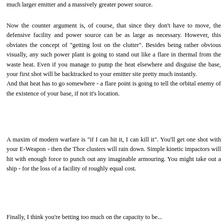much larger emitter and a massively greater power source.
Now the counter argument is, of course, that since they don't have to move, the defensive facility and power source can be as large as necessary. However, this obviates the concept of "getting lost on the clutter". Besides being rather obvious visually, any such power plant is going to stand out like a flare in thermal from the waste heat. Even if you manage to pump the heat elsewhere and disguise the base, your first shot will be backtracked to your emitter site pretty much instantly.
And that heat has to go somewhere - a flare point is going to tell the orbital enemy of the existence of your base, if not it's location.
A maxim of modern warfare is "if I can hit it, I can kill it". You'll get one shot with your E-Weapon - then the Thor clusters will rain down. Simple kinetic impactors will hit with enough force to punch out any imaginable armouring. You might take out a ship - for the loss of a facility of roughly equal cost.
Finally, I think you're betting too much on the capacity to be...